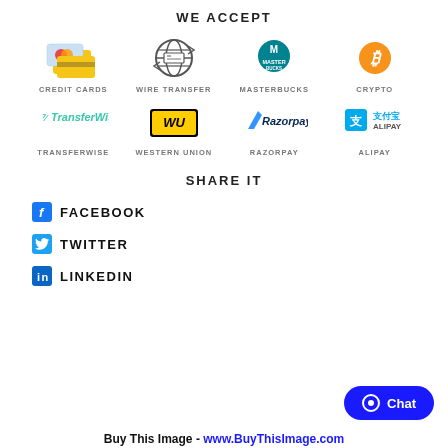WE ACCEPT
[Figure (infographic): Payment method icons grid: Credit Cards, Wire Transfer, Masterbucks, Crypto, TransferWise, Western Union, Razorpay, Alipay]
SHARE IT
FACEBOOK
TWITTER
LINKEDIN
[Figure (other): Chat button (blue rounded button with speech bubble icon and Chat label)]
Buy This Image - www.BuyThisImage.com